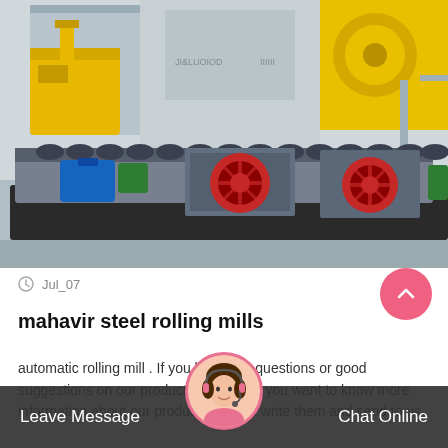[Figure (photo): Industrial machinery photo showing large steel rolling mill equipment on a factory floor. Yellow heavy machinery in background, grey conveyor/roller equipment in foreground with blue and red motors, set in an outdoor industrial yard.]
Jul_07
mahavir steel rolling mills
automatic rolling mill . If you have any questions or good suggestions on our products and site, or if you want to know more information about our products, please write them and send to us,